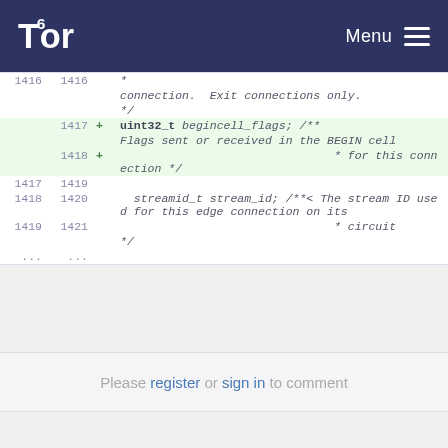Tor — Menu
1416  1416    *
               connection.  Exit connections only.
               */
+ 1417    uint32_t begincell_flags; /**
               Flags sent or received in the BEGIN cell
+ 1418                                   * for this connection */
1417  1419
1418  1420    streamid_t stream_id; /**< The stream ID used for this edge connection on its
1419  1421                                   * circuit */
...   ...
Please register or sign in to comment